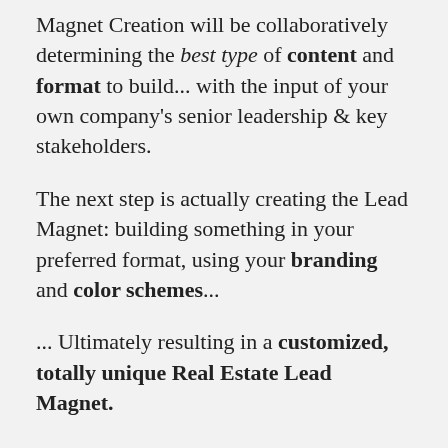Magnet Creation will be collaboratively determining the best type of content and format to build... with the input of your own company's senior leadership & key stakeholders.
The next step is actually creating the Lead Magnet: building something in your preferred format, using your branding and color schemes...
... Ultimately resulting in a customized, totally unique Real Estate Lead Magnet.
Real Estate Lead Magnet Creation will ultimately help you increase